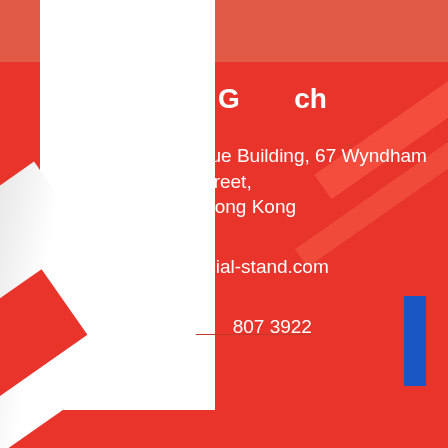[Figure (infographic): Red background page with white vertical stripe, diagonal decorative stripes, gray diagonal lower-left, blue rectangle lower-right. Contact information page layout with red, white and blue design elements.]
G…ch
…igue Building, 67 Wyndham Street, Hong Kong
…ocial-stand.com
…807 3922